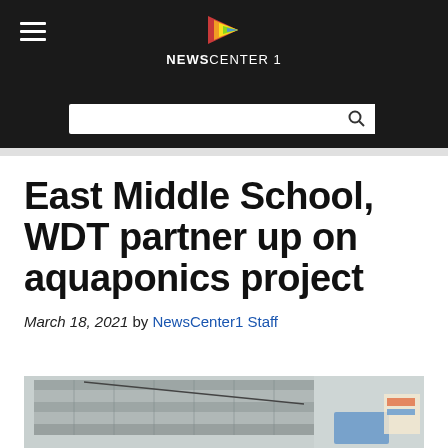NewsCenter1
East Middle School, WDT partner up on aquaponics project
March 18, 2021 by NewsCenter1 Staff
[Figure (photo): Interior photo of a school aquaponics setup, showing mesh/wire panels, tanks, and equipment in a classroom or greenhouse setting. A blue container is visible at lower right.]